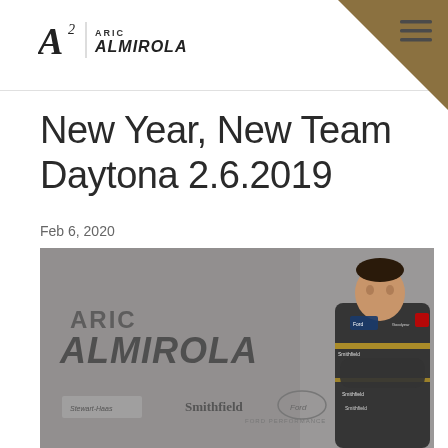Aric Almirola - logo and navigation
New Year, New Team Daytona 2.6.2019
Feb 6, 2020
[Figure (photo): Aric Almirola in racing suit with arms crossed, standing in front of Aric Almirola branding backdrop with Smithfield, Ford, and Stewart-Haas logos]